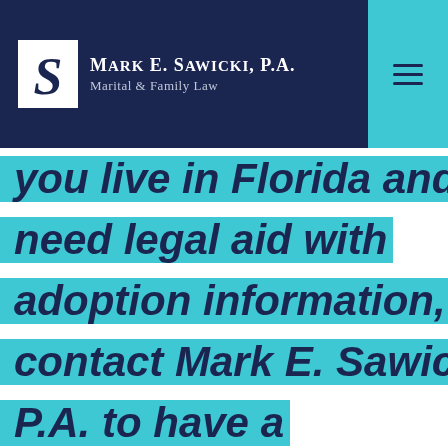Mark E. Sawicki, P.A. — Marital & Family Law
you live in Florida and need legal aid with adoption information, contact Mark E. Sawicki, P.A. to have a professional lawyer well-versed in family law take a look at your issues.